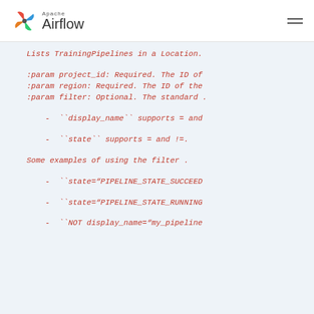Apache Airflow
Lists TrainingPipelines in a Location.

:param project_id: Required. The ID of
:param region: Required. The ID of the
:param filter: Optional. The standard .

- ``display_name`` supports = and

- ``state`` supports = and !=.

Some examples of using the filter .

- ``state="PIPELINE_STATE_SUCCEED

- ``state="PIPELINE_STATE_RUNNING

- ``NOT display_name="my_pipeline